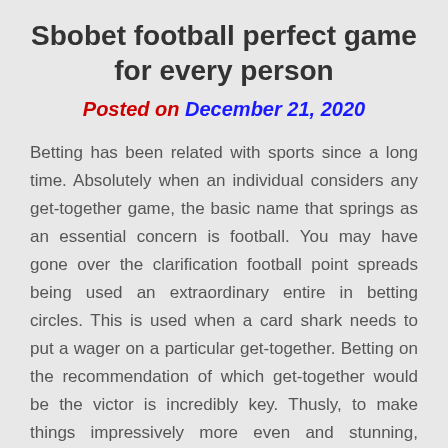Sbobet football perfect game for every person
Posted on December 21, 2020
Betting has been related with sports since a long time. Absolutely when an individual considers any get-together game, the basic name that springs as an essential concern is football. You may have gone over the clarification football point spreads being used an extraordinary entire in betting circles. This is used when a card shark needs to put a wager on a particular get-together. Betting on the recommendation of which get-together would be the victor is incredibly key. Thusly, to make things impressively more even and stunning, bettors use the football point spreads. In this procedure a get together would get centres around the remote